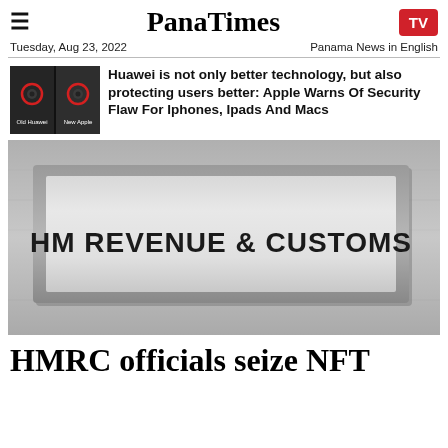PanaTimes
Tuesday, Aug 23, 2022    Panama News in English
[Figure (photo): Two camera comparison images (Old Huawei vs New Apple) with red circles highlighting camera lenses]
Huawei is not only better technology, but also protecting users better: Apple Warns Of Security Flaw For Iphones, Ipads And Macs
[Figure (photo): Black and white photograph of stone building sign reading HM REVENUE & CUSTOMS]
HMRC officials seize NFT